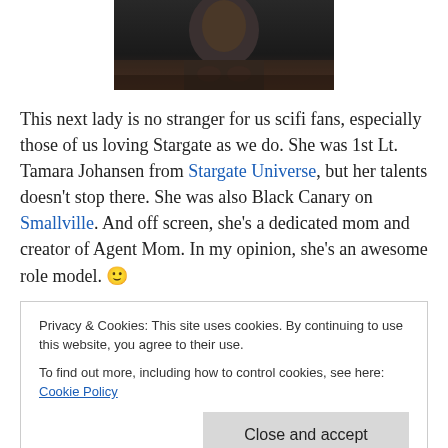[Figure (photo): Partial photo of a person in dark clothing, cropped at top]
This next lady is no stranger for us scifi fans, especially those of us loving Stargate as we do.  She was 1st Lt. Tamara Johansen from Stargate Universe, but her talents doesn't stop there.  She was also Black Canary on Smallville.  And off screen, she's a dedicated mom and creator of Agent Mom.  In my opinion, she's an awesome role model. 🙂
Privacy & Cookies: This site uses cookies. By continuing to use this website, you agree to their use.
To find out more, including how to control cookies, see here: Cookie Policy
Close and accept
guest staring on Tuesday's episode of NCIS Los Angeles.